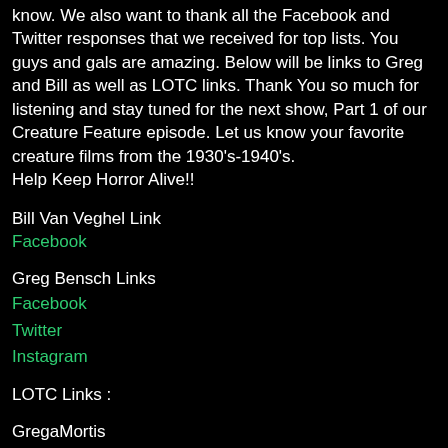know. We also want to thank all the Facebook and Twitter responses that we received for top lists. You guys and gals are amazing. Below will be links to Greg and Bill as well as LOTC links. Thank You so much for listening and stay tuned for the next show, Part 1 of our Creature Feature episode. Let us know your favorite creature films from the 1930's-1940's.
Help Keep Horror Alive!!
Bill Van Veghel Link
Facebook
Greg Bensch Links
Facebook
Twitter
Instagram
LOTC Links :
GregaMortis
Facebook
Twitter